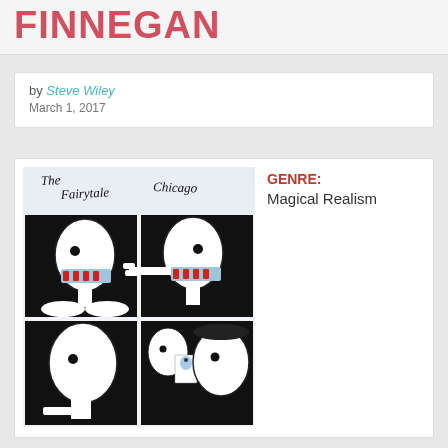FINNEGAN
by Steve Wiley
March 1, 2017
[Figure (illustration): Book cover illustration for 'The Fairytale Chicago' showing four panels with stylized white figures with black eyes wearing red-and-blue patterned scarves/blindfolds on dark backgrounds]
GENRE: Magical Realism